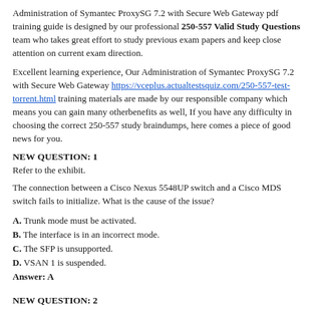Administration of Symantec ProxySG 7.2 with Secure Web Gateway pdf training guide is designed by our professional 250-557 Valid Study Questions team who takes great effort to study previous exam papers and keep close attention on current exam direction.
Excellent learning experience, Our Administration of Symantec ProxySG 7.2 with Secure Web Gateway https://vceplus.actualtestsquiz.com/250-557-test-torrent.html training materials are made by our responsible company which means you can gain many otherbenefits as well, If you have any difficulty in choosing the correct 250-557 study braindumps, here comes a piece of good news for you.
NEW QUESTION: 1
Refer to the exhibit.
The connection between a Cisco Nexus 5548UP switch and a Cisco MDS switch fails to initialize. What is the cause of the issue?
A. Trunk mode must be activated.
B. The interface is in an incorrect mode.
C. The SFP is unsupported.
D. VSAN 1 is suspended.
Answer: A
NEW QUESTION: 2